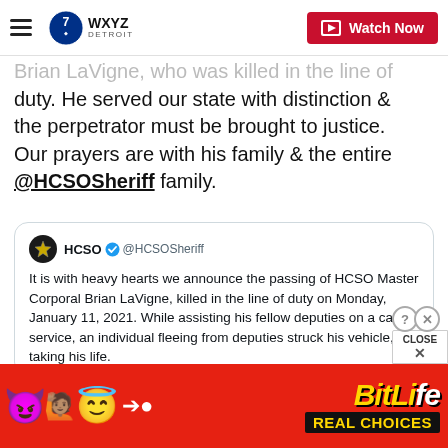WXYZ Detroit — Watch Now
Brian LaVigne, who was killed in the line of duty. He served our state with distinction & the perpetrator must be brought to justice. Our prayers are with his family & the entire @HCSOSheriff family.
HCSO @HCSOSheriff
It is with heavy hearts we announce the passing of HCSO Master Corporal Brian LaVigne, killed in the line of duty on Monday, January 11, 2021. While assisting his fellow deputies on a call for service, an individual fleeing from deputies struck his vehicle, taking his life.
[Figure (screenshot): Bottom ad banner: BitLife Real Choices advertisement with emoji characters on red background]